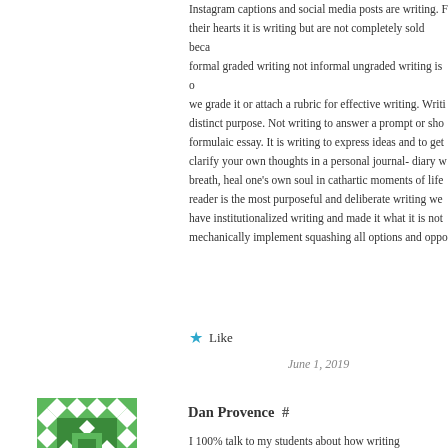Instagram captions and social media posts are writing. For many their hearts it is writing but are not completely sold because formal graded writing not informal ungraded writing is on we grade it or attach a rubric for effective writing. Writing distinct purpose. Not writing to answer a prompt or show formulaic essay. It is writing to express ideas and to get clarify your own thoughts in a personal journal- diary wr breath, heal one's own soul in cathartic moments of life reader is the most purposeful and deliberate writing we d have institutionalized writing and made it what it is not mechanically implement squashing all options and oppo
★ Like
June 1, 2019
[Figure (illustration): Green and white geometric avatar/icon with diamond and square patterns]
Dan Provence  #
I 100% talk to my students about how writing Instagram type of writing. Students often take a long time to figure